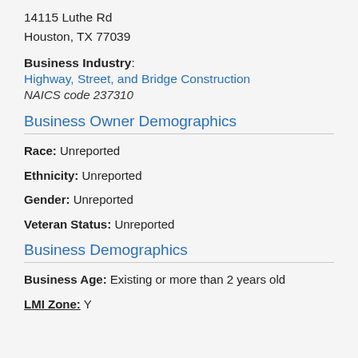14115 Luthe Rd
Houston, TX 77039
Business Industry:
Highway, Street, and Bridge Construction
NAICS code 237310
Business Owner Demographics
Race: Unreported
Ethnicity: Unreported
Gender: Unreported
Veteran Status: Unreported
Business Demographics
Business Age: Existing or more than 2 years old
LMI Zone: Y